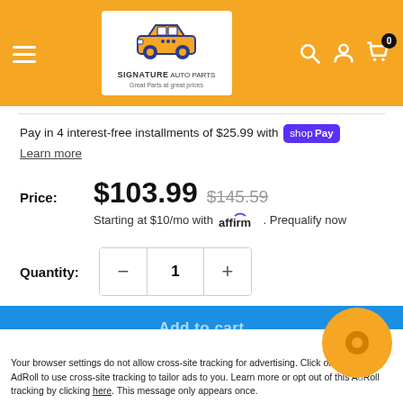[Figure (logo): Signature Auto Parts logo — car parts illustration in gold/navy, text reads SIGNATURE AUTO PARTS Great Parts at great prices, on yellow header background with hamburger menu and search/user/cart icons]
Pay in 4 interest-free installments of $25.99 with shop Pay
Learn more
Price: $103.99 $145.59
Starting at $10/mo with affirm. Prequalify now
Quantity: 1
Add to cart
Accept x Your browser settings do not allow cross-site tracking for advertising. Click on the AdRoll icon to allow AdRoll to use cross-site tracking to tailor ads to you. Learn more or opt out of this AdRoll tracking by clicking here. This message only appears once.